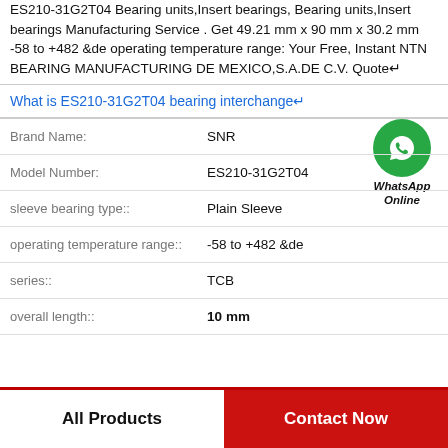ES210-31G2T04 Bearing units,Insert bearings, Bearing units,Insert bearings Manufacturing Service . Get 49.21 mm x 90 mm x 30.2 mm -58 to +482 &de operating temperature range: Your Free, Instant NTN BEARING MANUFACTURING DE MEXICO,S.A.DE C.V. Quote↵
What is ES210-31G2T04 bearing interchange↵
| Property | Value |
| --- | --- |
| Brand Name: | SNR |
| Model Number: | ES210-31G2T04 |
| sleeve bearing type:: | Plain Sleeve |
| operating temperature range:: | -58 to +482 &de |
| series:: | TCB |
| overall length:: | 10 mm |
[Figure (logo): WhatsApp Online green circle icon with phone handset and text WhatsApp Online]
All Products
Contact Now